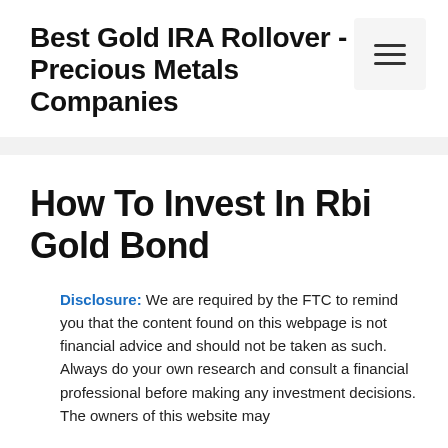Best Gold IRA Rollover - Precious Metals Companies
How To Invest In Rbi Gold Bond
Disclosure: We are required by the FTC to remind you that the content found on this webpage is not financial advice and should not be taken as such. Always do your own research and consult a financial professional before making any investment decisions. The owners of this website may